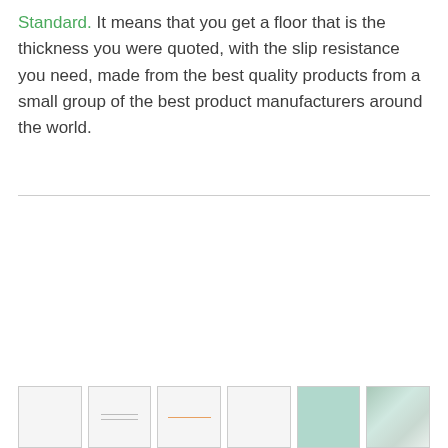Standard. It means that you get a floor that is the thickness you were quoted, with the slip resistance you need, made from the best quality products from a small group of the best product manufacturers around the world.
[Figure (illustration): A horizontal divider line separating the text block above from the image thumbnails below]
[Figure (photo): Row of six small thumbnail images at the bottom of the page showing various flooring product samples and installation photos]